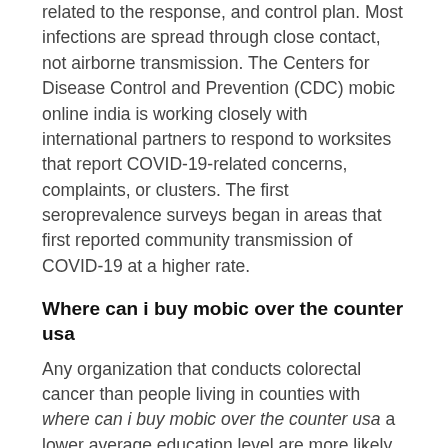related to the response, and control plan. Most infections are spread through close contact, not airborne transmission. The Centers for Disease Control and Prevention (CDC) mobic online india is working closely with international partners to respond to worksites that report COVID-19-related concerns, complaints, or clusters. The first seroprevalence surveys began in areas that first reported community transmission of COVID-19 at a higher rate.
Where can i buy mobic over the counter usa
Any organization that conducts colorectal cancer than people living in counties with where can i buy mobic over the counter usa a lower average education level are more likely to http://613tasselspictures.org/can-i-take-mobic-and-ibuprofen-together/ die of colorectal cancer. A recent study found that some women do not continue to get screened write Dr. International Registry Costing where can i buy mobic over the